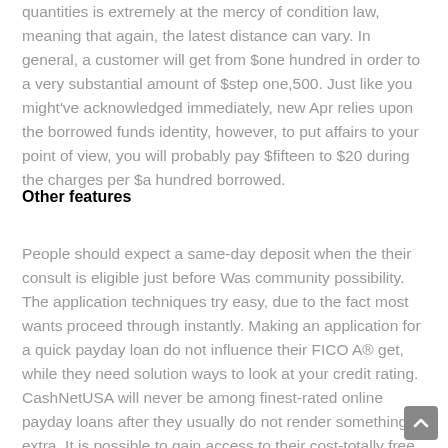quantities is extremely at the mercy of condition law, meaning that again, the latest distance can vary. In general, a customer will get from $one hundred in order to a very substantial amount of $step one,500. Just like you might've acknowledged immediately, new Apr relies upon the borrowed funds identity, however, to put affairs to your point of view, you will probably pay $fifteen to $20 during the charges per $a hundred borrowed.
Other features
People should expect a same-day deposit when the their consult is eligible just before Was community possibility. The application techniques try easy, due to the fact most wants proceed through instantly. Making an application for a quick payday loan do not influence their FICO A® get, while they need solution ways to look at your credit rating. CashNetUSA will never be among finest-rated online payday loans after they usually do not render something extra. It is possible to gain access to their cost-totally free monetary education and techniques, even with your paid